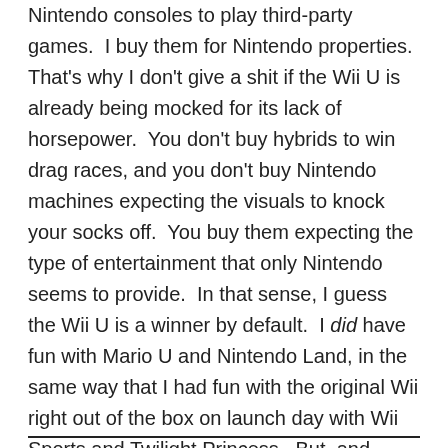Nintendo consoles to play third-party games.  I buy them for Nintendo properties.  That's why I don't give a shit if the Wii U is already being mocked for its lack of horsepower.  You don't buy hybrids to win drag races, and you don't buy Nintendo machines expecting the visuals to knock your socks off.  You buy them expecting the type of entertainment that only Nintendo seems to provide.  In that sense, I guess the Wii U is a winner by default.  I did have fun with Mario U and Nintendo Land, in the same way that I had fun with the original Wii right out of the box on launch day with Wii Sports and Twilight Princess.  But, and here's the difference between it and every other Nintendo launch: I don't see why I needed a new console to have that fun.  With the exception of Nintendo Land, nothing I've played on my Wii U over the last couple weeks couldn't have been done at least equally as fun on the 3DS.